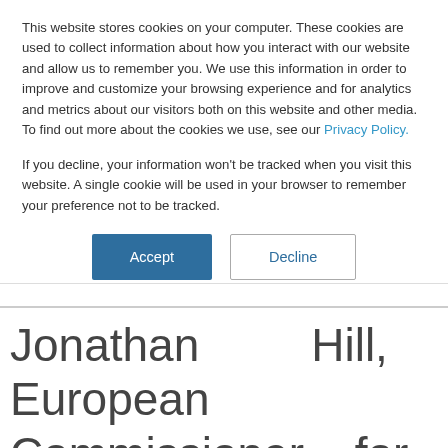This website stores cookies on your computer. These cookies are used to collect information about how you interact with our website and allow us to remember you. We use this information in order to improve and customize your browsing experience and for analytics and metrics about our visitors both on this website and other media. To find out more about the cookies we use, see our Privacy Policy.
If you decline, your information won't be tracked when you visit this website. A single cookie will be used in your browser to remember your preference not to be tracked.
Accept | Decline
Jonathan Hill, European Commissioner for Financial Stability, Financial Services and